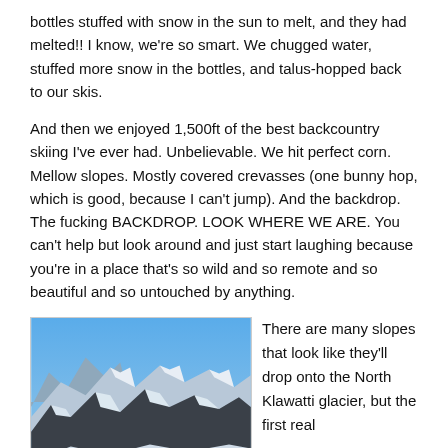bottles stuffed with snow in the sun to melt, and they had melted!! I know, we're so smart. We chugged water, stuffed more snow in the bottles, and talus-hopped back to our skis.
And then we enjoyed 1,500ft of the best backcountry skiing I've ever had. Unbelievable. We hit perfect corn. Mellow slopes. Mostly covered crevasses (one bunny hop, which is good, because I can't jump). And the backdrop. The fucking BACKDROP. LOOK WHERE WE ARE. You can't help but look around and just start laughing because you're in a place that's so wild and so remote and so beautiful and so untouched by anything.
[Figure (photo): Aerial view of snow-covered mountain peaks with blue sky, showing the rugged backcountry alpine terrain near North Klawatti glacier.]
There are many slopes that look like they'll drop onto the North Klawatti glacier, but the first real